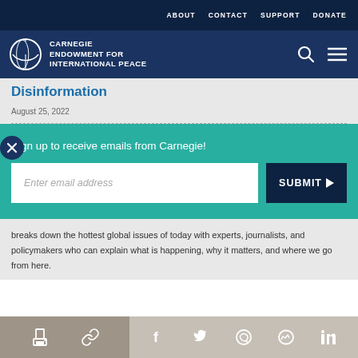ABOUT   CONTACT   SUPPORT   DONATE
[Figure (logo): Carnegie Endowment for International Peace logo with globe icon and navigation icons (search, hamburger menu)]
Disinformation
August 25, 2022
Sign up to receive emails from Carnegie!
breaks down the hottest global issues of today with experts, journalists, and policymakers who can explain what is happening, why it matters, and where we go from here.
[Figure (screenshot): Bottom social sharing toolbar with print, link, Facebook, Twitter, WhatsApp, Messenger, and LinkedIn icons]